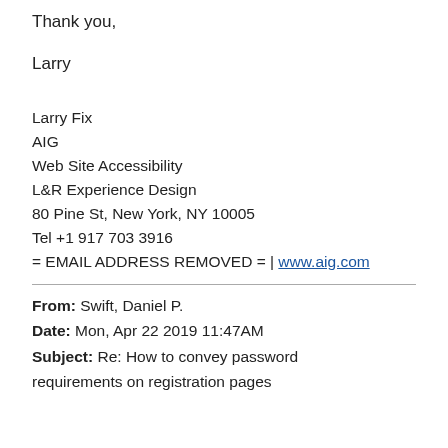Thank you,
Larry
Larry Fix
AIG
Web Site Accessibility
L&R Experience Design
80 Pine St, New York, NY 10005
Tel +1 917 703 3916
= EMAIL ADDRESS REMOVED = | www.aig.com
From: Swift, Daniel P.
Date: Mon, Apr 22 2019 11:47AM
Subject: Re: How to convey password requirements on registration pages